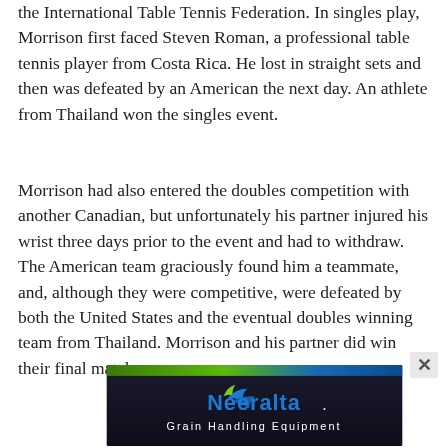the International Table Tennis Federation. In singles play, Morrison first faced Steven Roman, a professional table tennis player from Costa Rica. He lost in straight sets and then was defeated by an American the next day. An athlete from Thailand won the singles event.
Morrison had also entered the doubles competition with another Canadian, but unfortunately his partner injured his wrist three days prior to the event and had to withdraw. The American team graciously found him a teammate, and, although they were competitive, were defeated by both the United States and the eventual doubles winning team from Thailand. Morrison and his partner did win their final match
[Figure (illustration): Neeralta Grain Handling Equipment advertisement banner with dark background, green and blue gradient stripe at top, stylized swoosh logo, and white text reading 'Neeralta. Grain Handling Equipment']